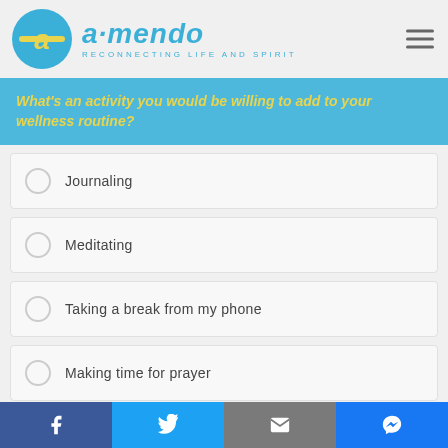[Figure (logo): Amendo logo: teal circle with yellow 'a' icon, teal italic 'amendo' text, subtitle 'RECONNECTING LIFE AND SPIRIT']
What's an activity you would be willing to add to your wellness routine?
Journaling
Meditating
Taking a break from my phone
Making time for prayer
All of the above
Facebook | Twitter | Email | Messenger